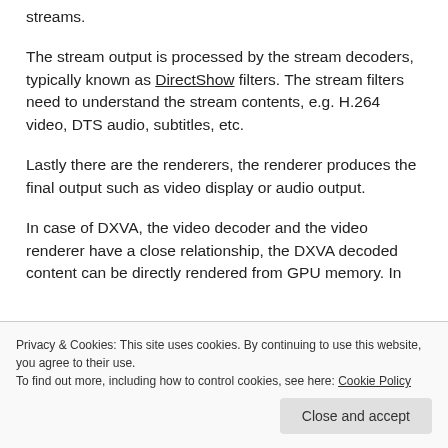streams.
The stream output is processed by the stream decoders, typically known as DirectShow filters. The stream filters need to understand the stream contents, e.g. H.264 video, DTS audio, subtitles, etc.
Lastly there are the renderers, the renderer produces the final output such as video display or audio output.
In case of DXVA, the video decoder and the video renderer have a close relationship, the DXVA decoded content can be directly rendered from GPU memory. In
Privacy & Cookies: This site uses cookies. By continuing to use this website, you agree to their use.
To find out more, including how to control cookies, see here: Cookie Policy